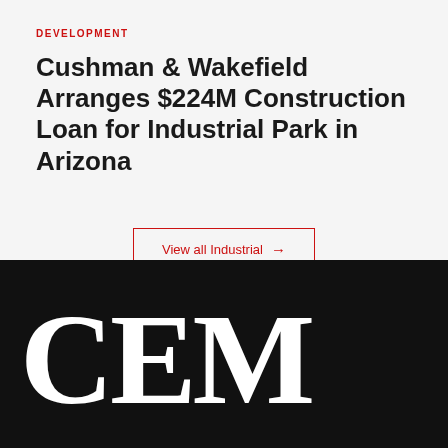DEVELOPMENT
Cushman & Wakefield Arranges $224M Construction Loan for Industrial Park in Arizona
View all Industrial →
[Figure (logo): CEM logo in large white serif letters on black background]